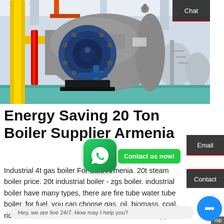[Figure (photo): Industrial boiler in a factory/plant setting. Large gray cylindrical boiler with blue burner assembly at front, yellow pipes on left, red pipe, teal/blue floor, white ceiling with structural elements. Chinese characters visible on boiler body.]
Energy Saving 20 Ton Boiler Supplier Armenia
Industrial 4t gas boiler For Sale Armenia. 20t steam boiler price. 20t industrial boiler - zgsboiler. industrial boiler have many types, there are fire tube water tube boiler, for fuel, you can choose gas, oil, biomass, coal, rice which is an industrial boiler manufacturer, supplier